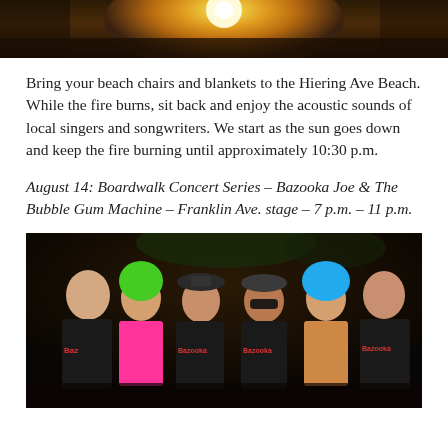[Figure (photo): Top portion of a sunset photo showing bright golden sun through dark foliage/trees]
Bring your beach chairs and blankets to the Hiering Ave Beach. While the fire burns, sit back and enjoy the acoustic sounds of local singers and songwriters. We start as the sun goes down and keep the fire burning until approximately 10:30 p.m.
August 14: Boardwalk Concert Series – Bazooka Joe & The Bubble Gum Machine – Franklin Ave. stage – 7 p.m. – 11 p.m.
[Figure (photo): Group photo of five people wearing Bazooka-branded black t-shirts at night; includes a woman with neon green wig in pink top, a man in hat, a man with sunglasses, a woman with blue wig, and a man on the right]